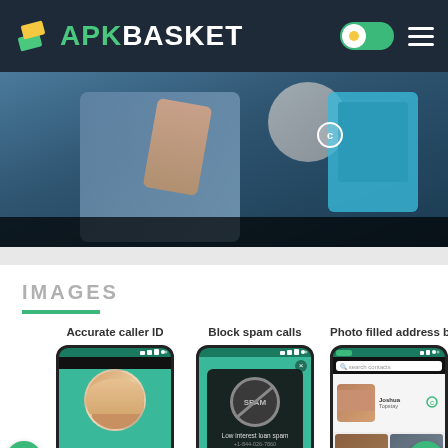APK BASKET
[Figure (photo): Hero image showing a person holding a smartphone with a coffee cup in the background]
IMAGES
[Figure (screenshot): Three Android phone mockups showing app features: Accurate caller ID (Lisa Miller), Block spam calls (SPAM overlay), Photo filled address book]
Accurate caller ID
Block spam calls
Photo filled address book